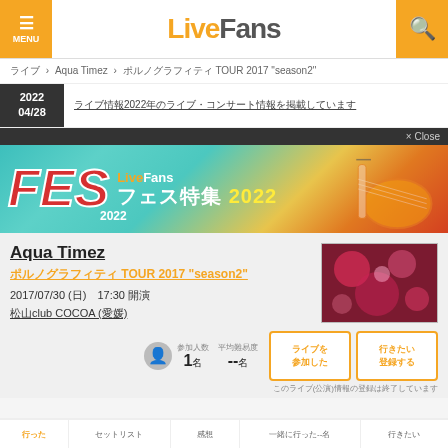MENU  LiveFans  [search]
ライブ > Aqua Timez > ポルノグラフィティ TOUR 2017 "season2"
2022 04/28  ライブ情報2022年のライブ・コンサート情報を掲載しています
[Figure (illustration): LiveFans FES 2022 フェス特集 2022 festival banner with colorful guitar graphics]
Aqua Timez
ポルノグラフィティ TOUR 2017 "season2"
2017/07/30 (日)　17:30 開演
松山club COCOA (愛媛)
参加人数 1名  平均難易度 --名
行った　セットリスト　感想　一緒に行った--名　行きたい